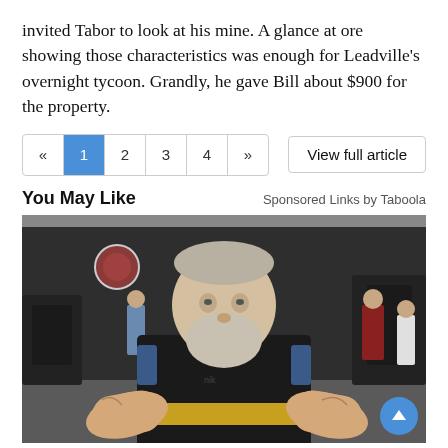invited Tabor to look at his mine. A glance at ore showing those characteristics was enough for Leadville's overnight tycoon. Grandly, he gave Bill about $900 for the property.
« 1 2 3 4 »
View full article
You May Like
Sponsored Links by Taboola
[Figure (photo): An older muscular man with a white beard wearing a black Nike compression shirt and a gold weightlifting belt, holding his arms forward showing large forearms, standing in a gym with exercise equipment and other people in the background.]